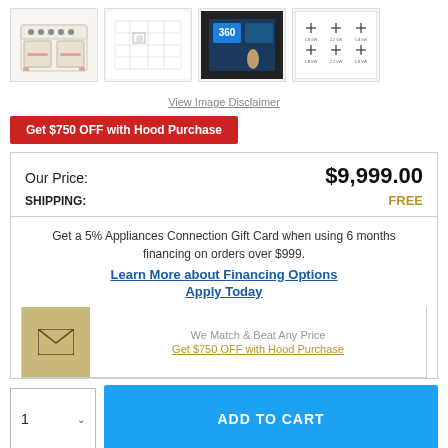[Figure (photo): Four product thumbnail images showing a range/oven appliance from different angles: full front view, technical diagram, touchscreen panel close-up, and cooktop top view]
View Image Disclaimer
Get $750 OFF with Hood Purchase
| Our Price: | $9,999.00 |
| SHIPPING: | FREE |
Get a 5% Appliances Connection Gift Card when using 6 months financing on orders over $999.
Learn More about Financing Options
Apply Today
[Figure (illustration): Envelope/mail icon on tan/gold background representing email contact]
We Match & Beat Any Price
Get $750 OFF with Hood Purchase
1  ADD TO CART